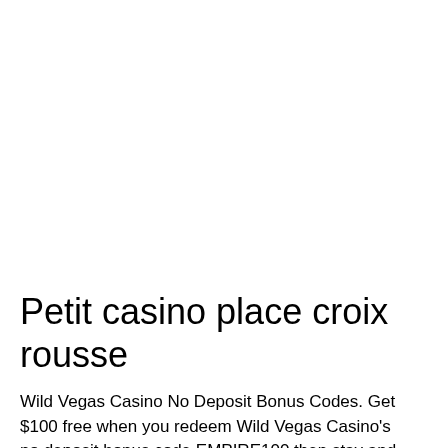Petit casino place croix rousse
Wild Vegas Casino No Deposit Bonus Codes. Get $100 free when you redeem Wild Vegas Casino's no deposit bonus code EMPIRE100 then stay and play with their super low rollover bonuses. Cherry Gold Casino No Deposit Bonus Codes, petit casino place croix rousse. Once your